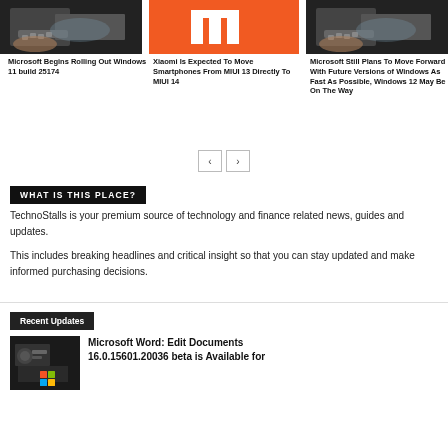[Figure (photo): Person typing on a laptop, dark tones]
[Figure (logo): Xiaomi MI logo on orange background]
[Figure (photo): Person typing on a laptop, dark tones]
Microsoft Begins Rolling Out Windows 11 build 25174
Xiaomi Is Expected To Move Smartphones From MIUI 13 Directly To MIUI 14
Microsoft Still Plans To Move Forward With Future Versions of Windows As Fast As Possible, Windows 12 May Be On The Way
WHAT IS THIS PLACE?
TechnoStalls is your premium source of technology and finance related news, guides and updates.
This includes breaking headlines and critical insight so that you can stay updated and make informed purchasing decisions.
Recent Updates
[Figure (photo): Microsoft branding on a device, dark tones]
Microsoft Word: Edit Documents 16.0.15601.20036 beta is Available for